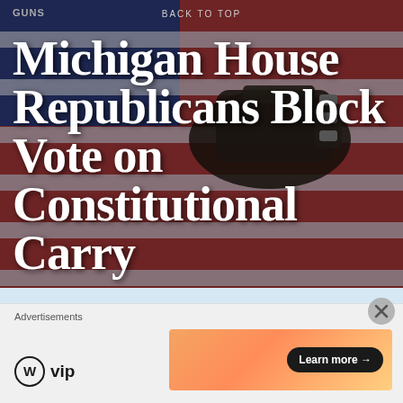[Figure (photo): Hero image showing a black gun holster with a pistol against an American flag background with red and blue colors]
GUNS
BACK TO TOP
Michigan House Republicans Block Vote on Constitutional Carry
House leadership abuses rules to derail efforts to bring pro-gun legislation to House Floor Lansing, MI — On Wednesday, Michigan House Republican leadership blocked efforts by State Representative Steve Carra to bring House Bills 4625-4627...
Advertisements
[Figure (logo): WordPress VIP logo and orange advertisement banner with Learn more button]